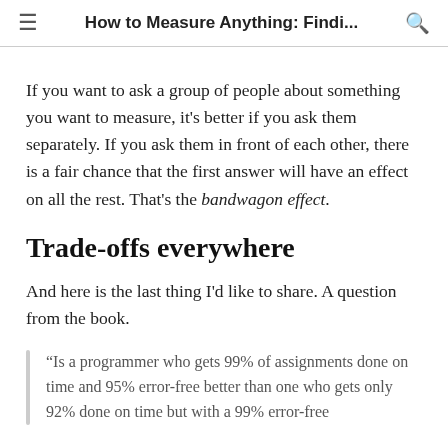How to Measure Anything: Findi...
If you want to ask a group of people about something you want to measure, it's better if you ask them separately. If you ask them in front of each other, there is a fair chance that the first answer will have an effect on all the rest. That's the bandwagon effect.
Trade-offs everywhere
And here is the last thing I'd like to share. A question from the book.
“Is a programmer who gets 99% of assignments done on time and 95% error-free better than one who gets only 92% done on time but with a 99% error-free